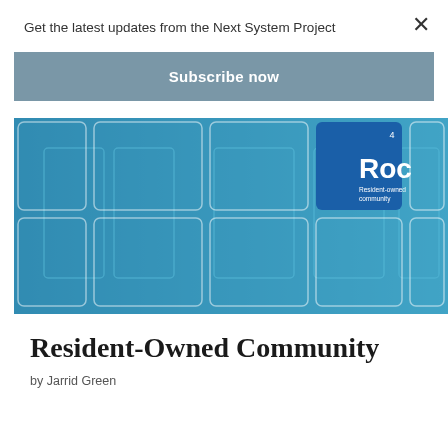Get the latest updates from the Next System Project
Subscribe now
[Figure (illustration): Book cover image for 'Resident-Owned Community' showing a blue grid layout with a prominent blue tile labeled 'Roc' (Resident-owned community) with the number 4, overlaid on a faded background of residential buildings.]
Resident-Owned Community
by Jarrid Green